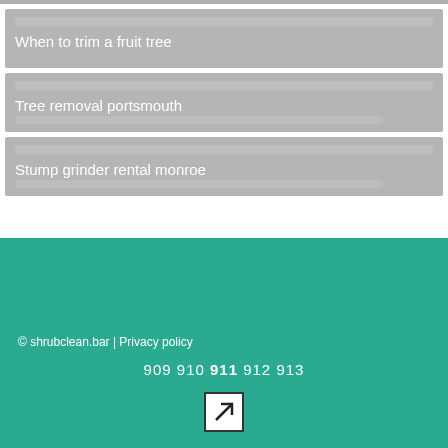When to trim a fruit tree
Tree removal portsmouth
Stump grinder rental monroe
© shrubclean.bar | Privacy policy
909 910 911 912 913
[Figure (other): Arrow icon pointing upper-right in a square box]